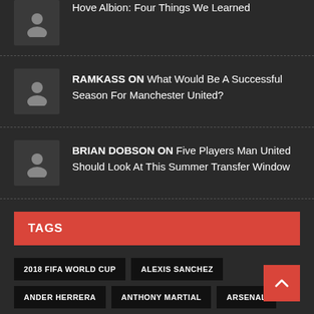Hove Albion: Four Things We Learned
RAMKASS ON What Would Be A Successful Season For Manchester United?
BRIAN DOBSON ON Five Players Man United Should Look At This Summer Transfer Window
TAGS
2018 FIFA WORLD CUP
ALEXIS SANCHEZ
ANDER HERRERA
ANTHONY MARTIAL
ARSENAL
CHAMPIONS LEAGUE
CHELSEA
CRYSTAL PALACE
DAVID DE GEA
DORON
EVERTON
FA CUP